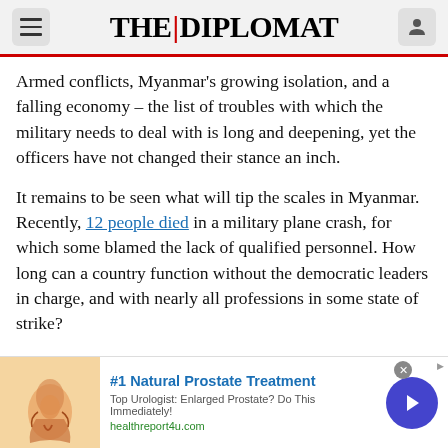THE | DIPLOMAT
Armed conflicts, Myanmar's growing isolation, and a falling economy – the list of troubles with which the military needs to deal with is long and deepening, yet the officers have not changed their stance an inch.
It remains to be seen what will tip the scales in Myanmar. Recently, 12 people died in a military plane crash, for which some blamed the lack of qualified personnel. How long can a country function without the democratic leaders in charge, and with nearly all professions in some state of strike?
[Figure (screenshot): Advertisement banner: #1 Natural Prostate Treatment. Top Urologist: Enlarged Prostate? Do This Immediately! healthreport4u.com]